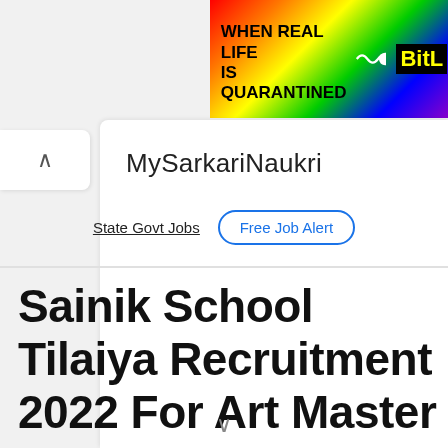[Figure (illustration): Advertisement banner with rainbow gradient background, text 'WHEN REAL LIFE IS QUARANTINED' in bold black, a squiggle graphic, and 'BitL' in yellow on black background]
[Figure (other): Navigation panel with up chevron arrow on white rounded rectangle]
MySarkariNaukri
State Govt Jobs   Free Job Alert
Sainik School Tilaiya Recruitment 2022 For Art Master
↓